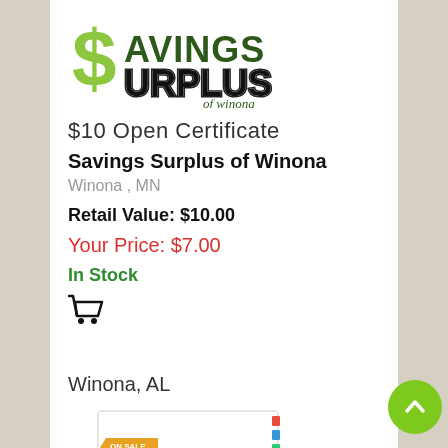[Figure (logo): Savings Surplus of Winona logo with large dollar sign and text]
$10 Open Certificate
Savings Surplus of Winona
Winona , MN
Retail Value: $10.00
Your Price: $7.00
In Stock
[Figure (illustration): Shopping cart icon]
Winona, AL
[Figure (illustration): Partial certificate card image with ON SALE NOW! tag and CERTIFICATE text]